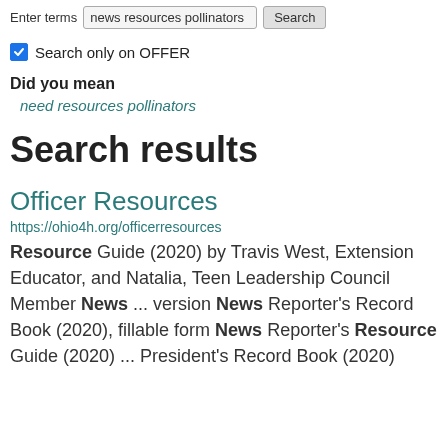Enter terms  news resources pollinators  Search
Search only on OFFER
Did you mean
need resources pollinators
Search results
Officer Resources
https://ohio4h.org/officerresources
Resource Guide (2020) by Travis West, Extension Educator, and Natalia, Teen Leadership Council Member News ... version News Reporter's Record Book (2020), fillable form News Reporter's Resource Guide (2020) ... President's Record Book (2020)